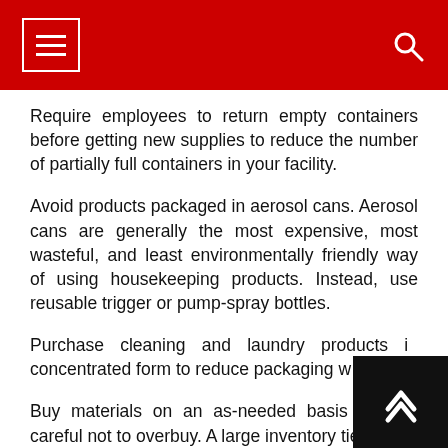Require employees to return empty containers before getting new supplies to reduce the number of partially full containers in your facility.
Avoid products packaged in aerosol cans. Aerosol cans are generally the most expensive, most wasteful, and least environmentally friendly way of using housekeeping products. Instead, use reusable trigger or pump-spray bottles.
Purchase cleaning and laundry products in concentrated form to reduce packaging w...
Buy materials on an as-needed basis and be careful not to overbuy. A large inventory ties up